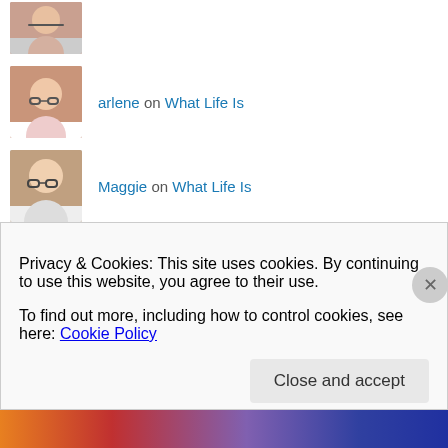arlene on What Life Is
Maggie on What Life Is
arlene on What Life Is
Anne Mehrling on What Life Is
arlene on What Life Is
Anne Mehrling on What Life Is
faithfullyyours2017 on What Life Is
Privacy & Cookies: This site uses cookies. By continuing to use this website, you agree to their use.
To find out more, including how to control cookies, see here: Cookie Policy
Close and accept